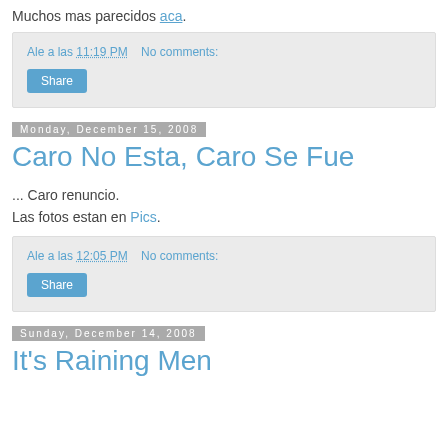Muchos mas parecidos aca.
Ale a las 11:19 PM   No comments:
Share
Monday, December 15, 2008
Caro No Esta, Caro Se Fue
... Caro renuncio.
Las fotos estan en Pics.
Ale a las 12:05 PM   No comments:
Share
Sunday, December 14, 2008
It's Raining Men